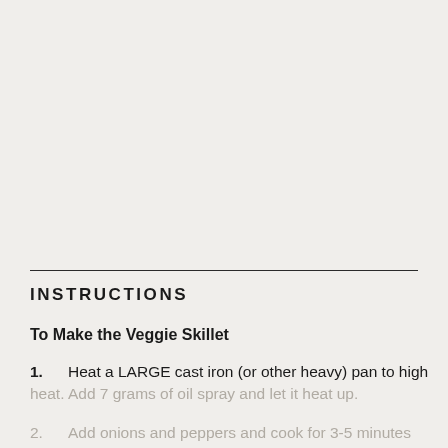INSTRUCTIONS
To Make the Veggie Skillet
1. Heat a LARGE cast iron (or other heavy) pan to high heat. Add 7 grams of oil spray and let it heat up.
2. Add onions and peppers and cook for 3-5 minutes